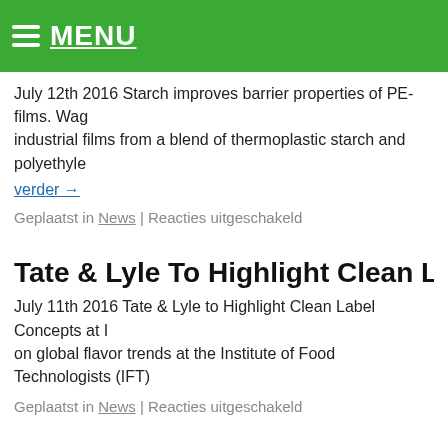MENU
July 12th 2016 Starch improves barrier properties of PE-films. Wag... industrial films from a blend of thermoplastic starch and polyethyle...
verder →
Geplaatst in News | Reacties uitgeschakeld
Tate & Lyle To Highlight Clean Label Conce...
July 11th 2016 Tate & Lyle to Highlight Clean Label Concepts at I... on global flavor trends at the Institute of Food Technologists (IFT)
Geplaatst in News | Reacties uitgeschakeld
Avebe To Build New Innovation Centre
July 01st 2016 Avebe Confirm Plans to Build New Innovation Cen... developer Triade, have confirmed that a brand new innovation cent...